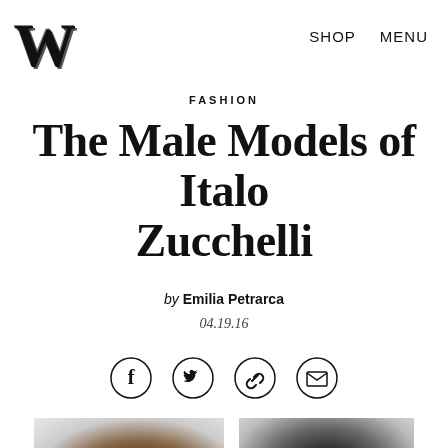W  SHOP  MENU
FASHION
The Male Models of Italo Zucchelli
by Emilia Petrarca
04.19.16
[Figure (infographic): Four social sharing icons in circles: Facebook (f), Twitter (bird), link/chain, envelope/email]
[Figure (photo): Two black-and-white fashion photographs side by side showing male models]